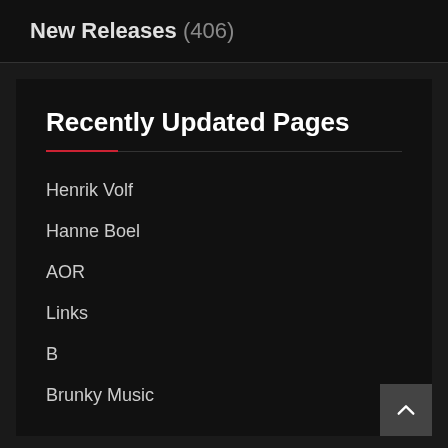New Releases (406)
Recently Updated Pages
Henrik Volf
Hanne Boel
AOR
Links
B
Brunky Music